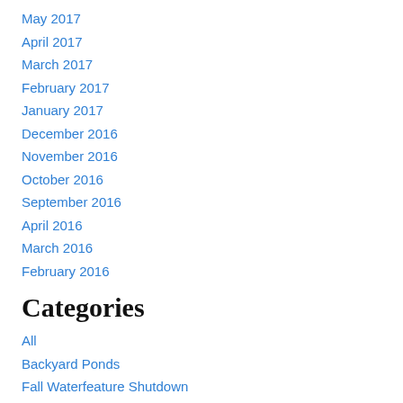May 2017
April 2017
March 2017
February 2017
January 2017
December 2016
November 2016
October 2016
September 2016
April 2016
March 2016
February 2016
Categories
All
Backyard Ponds
Fall Waterfeature Shutdown
Fish Predators
Fountain Installation
Installation Projects
Leak Troubleshooting